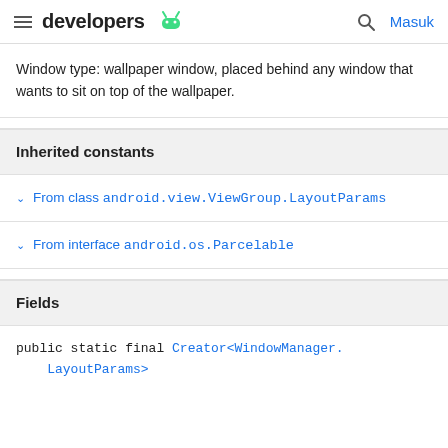developers [android icon] | [search icon] Masuk
Window type: wallpaper window, placed behind any window that wants to sit on top of the wallpaper.
Inherited constants
From class android.view.ViewGroup.LayoutParams
From interface android.os.Parcelable
Fields
public static final Creator<WindowManager.LayoutParams>